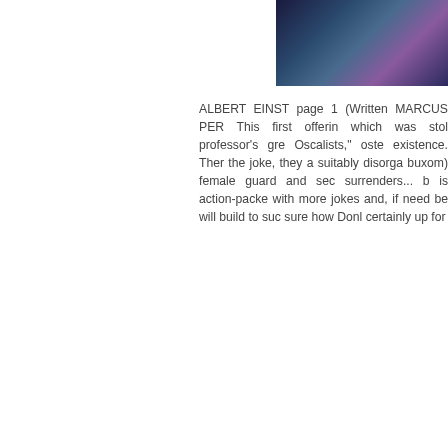[Figure (illustration): Partial comic book or graphic novel cover/artwork showing a dark-toned illustrated figure with blue and purple colors visible at top right of the page]
ALBERT EINST... page 1 (Written... MARCUS PER... This first offerin... which was stol... professor's gre... Oscalists," oste... existence. Ther... the joke, they a... suitably disorgа... buxom) female... guard and sec... surrenders... b... is action-packe... with more jokes... and, if need be... will build to suc... sure how Donl... certainly up for...